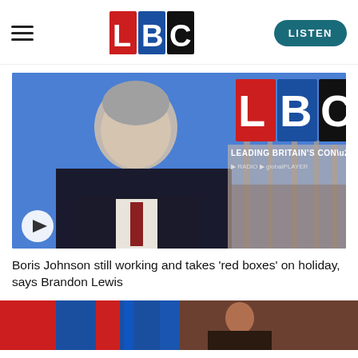[Figure (logo): LBC radio logo with red L, blue B, black C letters on white background]
[Figure (screenshot): Video thumbnail showing a man in a dark suit with grey hair being interviewed on LBC, with Houses of Parliament in background and LBC logo overlay. Play button in bottom left.]
Boris Johnson still working and takes ‘red boxes’ on holiday, says Brandon Lewis
[Figure (screenshot): Two partial thumbnail images at bottom of page: left thumbnail showing LBC branding in blue and red, right thumbnail showing a person]